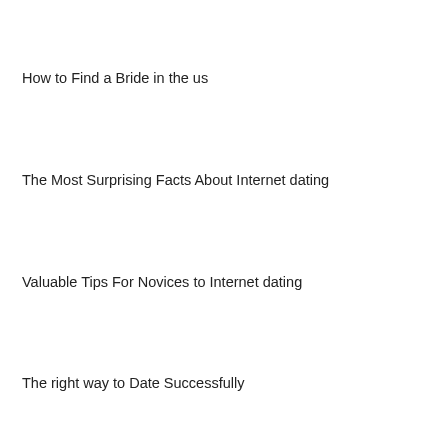How to Find a Bride in the us
The Most Surprising Facts About Internet dating
Valuable Tips For Novices to Internet dating
The right way to Date Successfully
How you can Write an internet Dating 1st Message
Tips on how to Write a web Dating 1st Message
How to Date Efficiently
Points to Watch Out For within a Crypto Very soft Review
Affair Dating Sites
Гель Единица Безо Лампы Без Аллергии Антисептик цена Прием Ради Ногтей Маникюра На Izi Ua